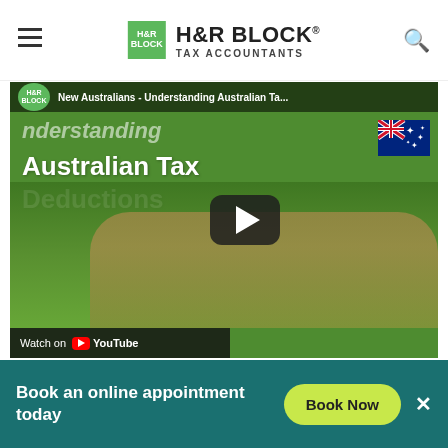[Figure (logo): H&R Block Tax Accountants logo with green square, hamburger menu icon on left, search icon on right]
[Figure (screenshot): YouTube video thumbnail: 'New Australians - Understanding Australian Tax Deductions' with H&R Block branding on a green background. A woman in a pink shirt sits at a desk with a laptop. Text overlay: 'Understanding Australian Tax Deductions'. Australian flag in top right. Play button overlay. 'Watch on YouTube' bar at bottom left.]
Book an online appointment today
Book Now